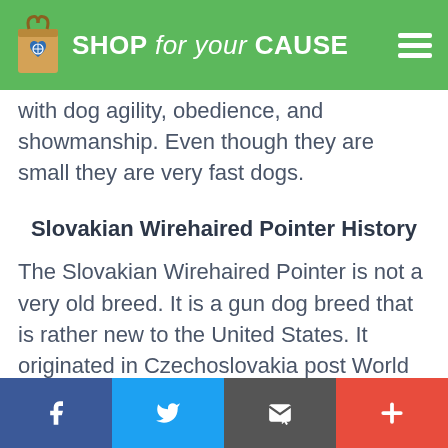SHOP for your CAUSE
with dog agility, obedience, and showmanship. Even though they are small they are very fast dogs.
Slovakian Wirehaired Pointer History
The Slovakian Wirehaired Pointer is not a very old breed. It is a gun dog breed that is rather new to the United States. It originated in Czechoslovakia post World War Two. It is thought to be a cross between the Weimaraner and the German Wirehaired Pointer. It is a dog with great stamina that is a good hunter
Facebook | Twitter | Email | Plus